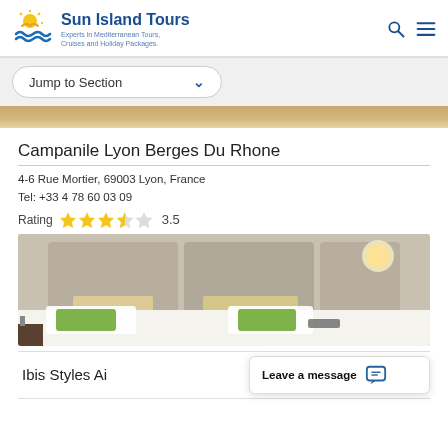Sun Island Tours — Experts in Mediterranean Tours, Cruises and Holiday Packages.
Jump to Section
[Figure (photo): Partial hotel image at top of page]
Campanile Lyon Berges Du Rhone
4-6 Rue Mortier, 69003 Lyon, France
Tel: +33 4 78 60 03 09
Rating  ★★★½  3.5
[Figure (photo): Hotel room photo: double bed with white linen and green pillows, beige padded headboard, wall light.]
Ibis Styles Ai
Leave a message